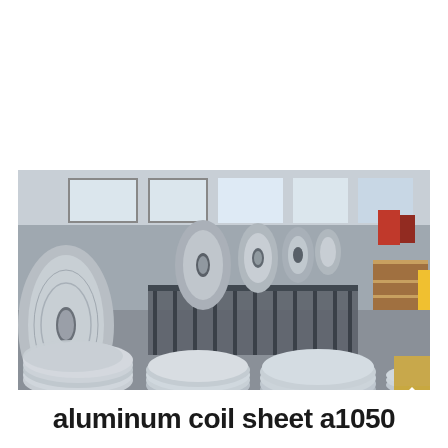[Figure (photo): Industrial warehouse photograph showing large aluminum coil rolls on the floor and stacked aluminum circular discs/blanks in the foreground. The facility has high ceilings with windows letting in natural light. Steel racks and equipment visible in the background.]
aluminum coil sheet a1050